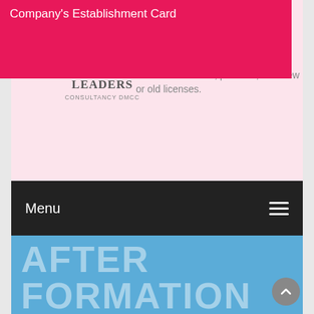[Figure (logo): Leaders Consultancy DMCC logo with red eagle/wing emblem above the text LEADERS CONSULTANCY DMCC]
Representing the companies and individuals to governmental and nongovernmental entities
Add new activities, partners, or renew or old licenses.
Menu
Company's Establishment Card
AFTER FORMATION